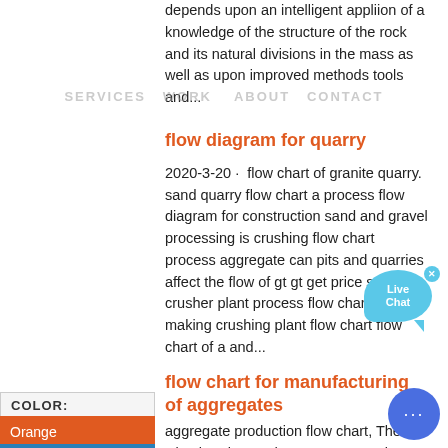depends upon an intelligent appliion of a knowledge of the structure of the rock and its natural divisions in the mass as well as upon improved methods tools and...
SERVICES   WORK    ABOUT   CONTACT
flow diagram for quarry
2020-3-20 · flow chart of granite quarry. sand quarry flow chart a process flow diagram for construction sand and gravel processing is crushing flow chart process aggregate can pits and quarries affect the flow of gt gt get price stones crusher plant process flow chart sand making crushing plant flow chart flow chart of a and...
flow chart for manufacturing of aggregates
aggregate production flow chart, The Circular Flow and GDP In economics, the